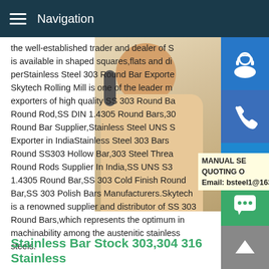Navigation
the well-established trader and dealer of S is available in shaped squares,flats and di perStainless Steel 303 Round Bar Exporte Skytech Rolling Mill is one of the leader m exporters of high quality SS 303 Round Ba Round Rod,SS DIN 1.4305 Round Bars,30 Round Bar Supplier,Stainless Steel UNS S Exporter in IndiaStainless Steel 303 Bars Round SS303 Hollow Bar,303 Steel Threa Round Rods Supplier In India,SS UNS S3 1.4305 Round Bar,SS 303 Cold Finish Round Bar,SS 303 Polish Bars Manufacturers.Skytech is a renowned supplier and distributor of SS 303 Round Bars,which represents the optimum in machinability among the austenitic stainless steels.
MANUAL SE QUOTING O Email: bsteel1@163.com
Stainless Bar Stock 303,304 316 Stainless